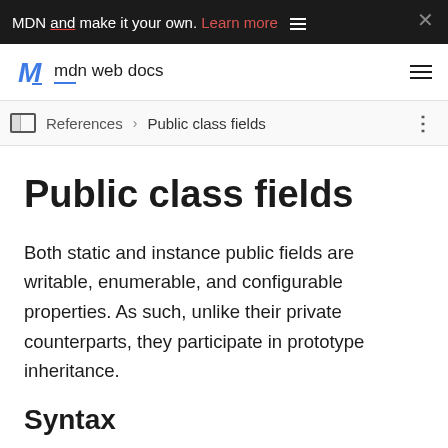MDN and make it your own. Learn more ☰
mdn web docs
References > Public class fields
Public class fields
Both static and instance public fields are writable, enumerable, and configurable properties. As such, unlike their private counterparts, they participate in prototype inheritance.
Syntax